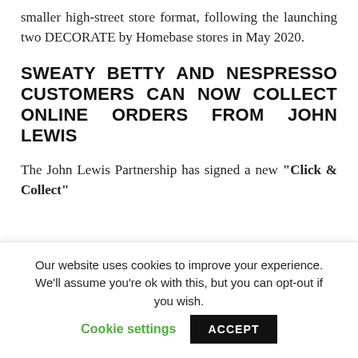smaller high-street store format, following the launching two DECORATE by Homebase stores in May 2020.
SWEATY BETTY AND NESPRESSO CUSTOMERS CAN NOW COLLECT ONLINE ORDERS FROM JOHN LEWIS
The John Lewis Partnership has signed a new “Click & Collect”
Our website uses cookies to improve your experience. We'll assume you're ok with this, but you can opt-out if you wish.
Cookie settings   ACCEPT